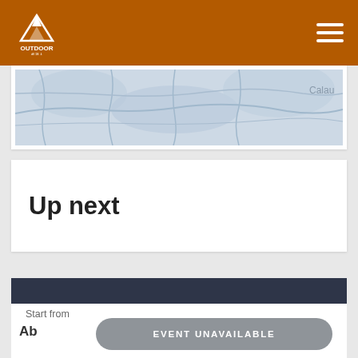OUTDOOR (logo) — hamburger menu
[Figure (map): Partial road/terrain map view with label 'Calau' visible at right edge]
Up next
Start from ₱20 per person ★★★★★
EVENT UNAVAILABLE